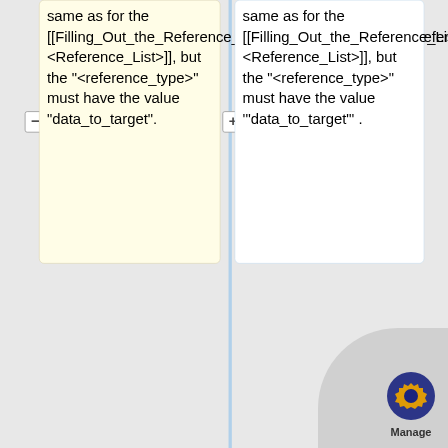same as for the [[Filling_Out_the_Reference_List_Classes#.3CInternal_Reference.3E|&lt;Reference_List&gt;]], but the "&lt;reference_type&gt;" must have the value "data_to_target".
same as for the [[Filling_Out_the_Reference_List_Classes#.3CInternal_Reference.3E|&lt;Reference_List&gt;]], but the "&lt;reference_type&gt;" must have the value '"data_to_target"' .
Note that only one "&lt;Internal_Reference&gt;" is allowed, at most.  It should be to a PDS4
Note that only one "&lt;Internal_Reference&gt;" is allowed, at most.  It should be to